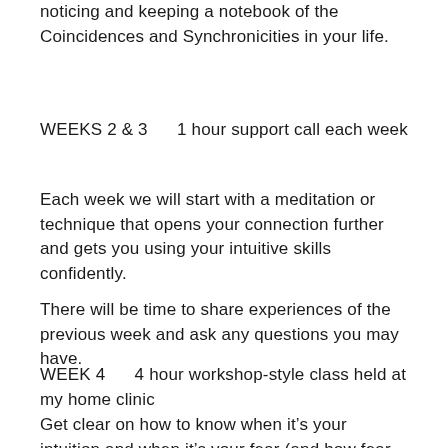noticing and keeping a notebook of the Coincidences and Synchronicities in your life.
WEEKS 2 & 3    1 hour support call each week
Each week we will start with a meditation or technique that opens your connection further and gets you using your intuitive skills confidently.
There will be time to share experiences of the previous week and ask any questions you may have.
WEEK 4    4 hour workshop-style class held at my home clinic
Get clear on how to know when it’s your intuition and when it’s your fear (and how fear stops you from hearing